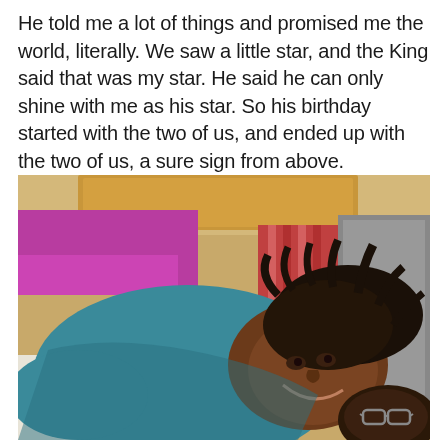He told me a lot of things and promised me the world, literally. We saw a little star, and the King said that was my star. He said he can only shine with me as his star. So his birthday started with the two of us, and ended up with the two of us, a sure sign from above.
[Figure (photo): A smiling woman with dreadlocks wearing a teal/blue shirt, lying down on a bed with pillows. Another person with glasses is visible in the lower right corner. The background shows a wooden headboard and colorful bedding in purple and red/striped patterns.]